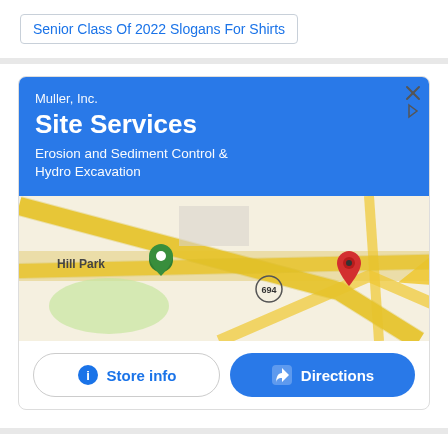Senior Class Of 2022 Slogans For Shirts
[Figure (screenshot): Google Maps advertisement for Muller, Inc. Site Services - Erosion and Sediment Control & Hydro Excavation, showing a map with location pin near Hill Park (route 694, 237), with Store info and Directions buttons.]
11  Being us and having fun, the class of 2022 is #1.